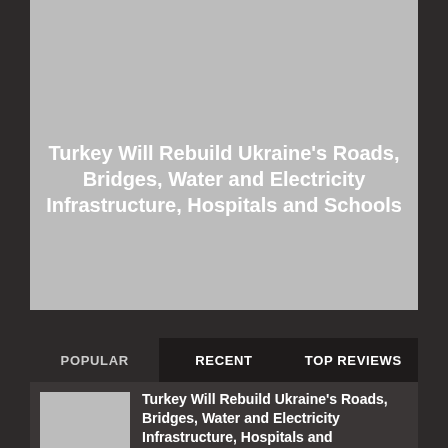[Figure (photo): Large gray placeholder image area for article hero image]
Turkey Will Rebuild Ukraine's Roads, Bridges, Water and Electricity Infrastructure, Hospitals and Schools
POPULAR | RECENT | TOP REVIEWS
[Figure (photo): Small gray thumbnail image for article card]
Turkey Will Rebuild Ukraine's Roads, Bridges, Water and Electricity Infrastructure, Hospitals and